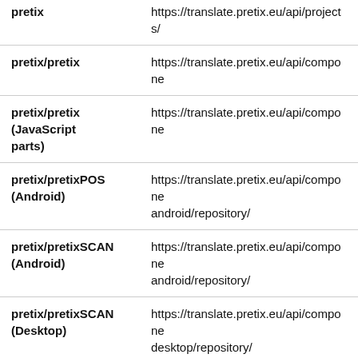| Component | URL |
| --- | --- |
| pretix | https://translate.pretix.eu/api/projects/ |
| pretix/pretix | https://translate.pretix.eu/api/components/... |
| pretix/pretix (JavaScript parts) | https://translate.pretix.eu/api/components/... |
| pretix/pretixPOS (Android) | https://translate.pretix.eu/api/components/... android/repository/ |
| pretix/pretixSCAN (Android) | https://translate.pretix.eu/api/components/... android/repository/ |
| pretix/pretixSCAN (Desktop) | https://translate.pretix.eu/api/components/... desktop/repository/ |
| pretix/pretixSCAN (iOS) | https://translate.pretix.eu/api/components/... ios/repository/ |
| pretix/pretix.eu | https://translate.pretix.eu/api/components/... |